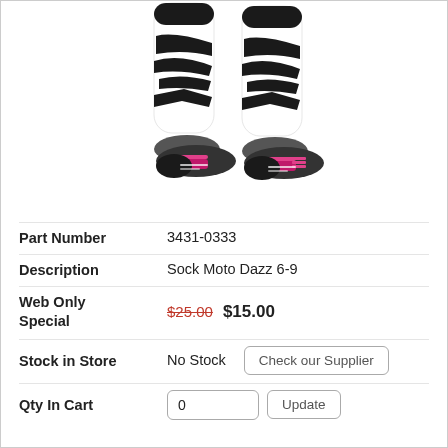[Figure (photo): Product photo of black and white zebra-patterned socks with pink/magenta accents on the heel and toe area. Two socks shown side by side, standing upright.]
| Part Number | 3431-0333 |
| Description | Sock Moto Dazz 6-9 |
| Web Only Special | $25.00  $15.00 |
| Stock in Store | No Stock  Check our Supplier |
| Qty In Cart | 0  Update |